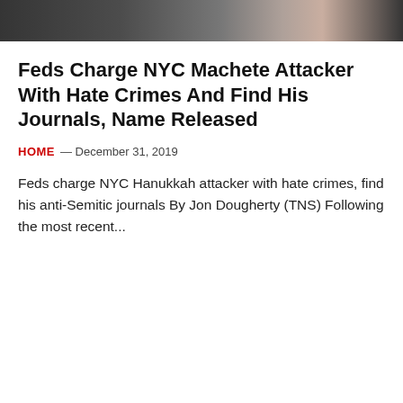[Figure (photo): Partial photo at top of page, dark background with figures]
Feds Charge NYC Machete Attacker With Hate Crimes And Find His Journals, Name Released
HOME — December 31, 2019
Feds charge NYC Hanukkah attacker with hate crimes, find his anti-Semitic journals By Jon Dougherty (TNS) Following the most recent...
[Figure (photo): Portrait photo of a person, light blue background, faded/watermarked appearance]